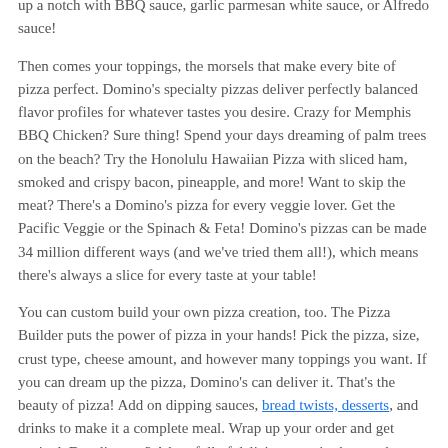up a notch with BBQ sauce, garlic parmesan white sauce, or Alfredo sauce!
Then comes your toppings, the morsels that make every bite of pizza perfect. Domino's specialty pizzas deliver perfectly balanced flavor profiles for whatever tastes you desire. Crazy for Memphis BBQ Chicken? Sure thing! Spend your days dreaming of palm trees on the beach? Try the Honolulu Hawaiian Pizza with sliced ham, smoked and crispy bacon, pineapple, and more! Want to skip the meat? There's a Domino's pizza for every veggie lover. Get the Pacific Veggie or the Spinach & Feta! Domino's pizzas can be made 34 million different ways (and we've tried them all!), which means there's always a slice for every taste at your table!
You can custom build your own pizza creation, too. The Pizza Builder puts the power of pizza in your hands! Pick the pizza, size, crust type, cheese amount, and however many toppings you want. If you can dream up the pizza, Domino's can deliver it. That's the beauty of pizza! Add on dipping sauces, bread twists, desserts, and drinks to make it a complete meal. Wrap up your order and get excited. Drooling yet? A box full of deliciousness is about to be ready for takeout or delivery near